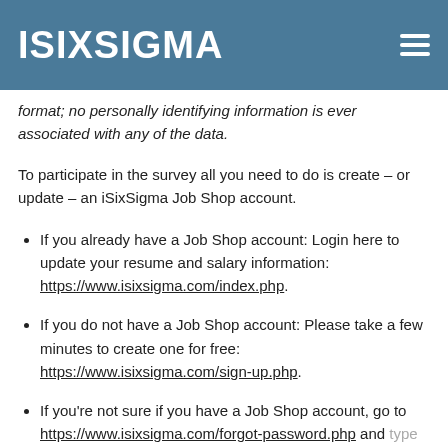ISIXSIGMA
format; no personally identifying information is ever associated with any of the data.
To participate in the survey all you need to do is create – or update – an iSixSigma Job Shop account.
If you already have a Job Shop account: Login here to update your resume and salary information: https://www.isixsigma.com/index.php.
If you do not have a Job Shop account: Please take a few minutes to create one for free: https://www.isixsigma.com/sign-up.php.
If you're not sure if you have a Job Shop account, go to https://www.isixsigma.com/forgot-password.php and type in your email address. Your password will be sent to you if you have an account; if you don't have an